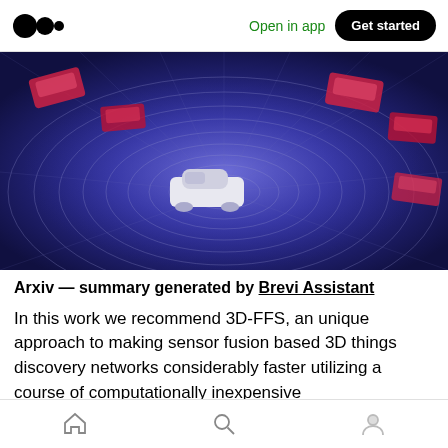Open in app  Get started
[Figure (illustration): 3D rendered scene of autonomous vehicles on a blue surface with radar/lidar wave patterns emanating from a white car in the center; several red/pink box-shaped objects (other vehicles) scattered around on a dark blue-purple grid surface with circular wave lines]
Arxiv — summary generated by Brevi Assistant
In this work we recommend 3D-FFS, an unique approach to making sensor fusion based 3D things discovery networks considerably faster utilizing a course of computationally inexpensive